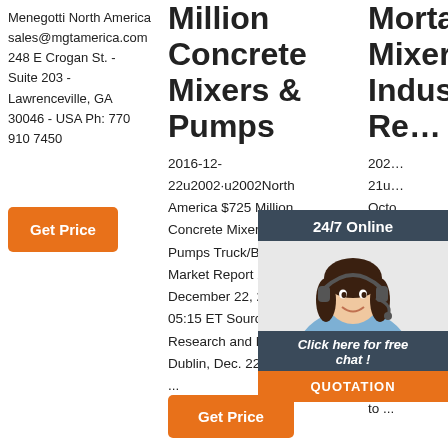Menegotti North America sales@mgtamerica.com 248 E Crogan St. - Suite 203 - Lawrenceville, GA 30046 - USA Ph: 770 910 7450
Get Price
Million Concrete Mixers & Pumps
2016-12-22u2002·u2002North America $725 Million Concrete Mixers & Pumps Truck/Body Market Report 2016 . December 22, 2016 05:15 ET Source: Research and Markets Dublin, Dec. 22, 2016 ...
Mortar Mixers Industry Re…
202… 21u… Octo… 'Nor… Con… Mixe… Ana… Size, Trends and Insights. Update: COVID-19 Impact report has been added to ...
[Figure (photo): Chat support widget with a woman wearing a headset, dark header '24/7 Online', footer 'Click here for free chat!', and orange QUOTATION button]
Get Price